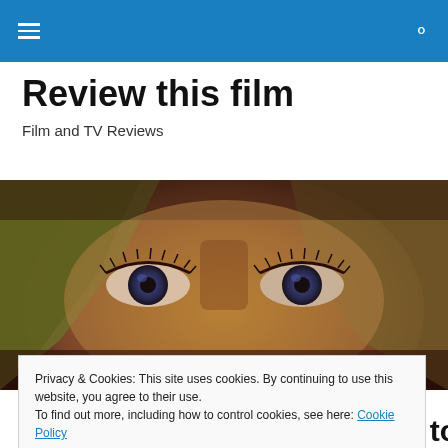Review this film — navigation header with hamburger menu and search icon
Review this film
Film and TV Reviews
[Figure (photo): Close-up of a woman's eyes with blonde hair, dramatic lighting with warm tones]
Privacy & Cookies: This site uses cookies. By continuing to use this website, you agree to their use.
To find out more, including how to control cookies, see here: Cookie Policy
Close and accept
Across the Universe, Return to